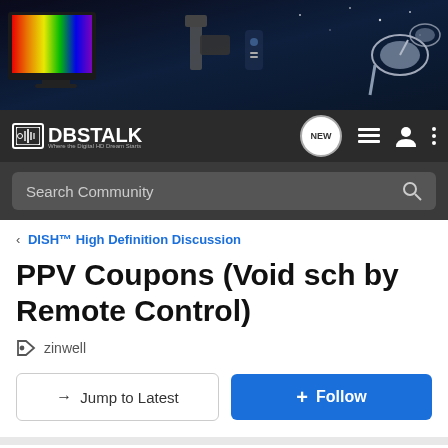[Figure (screenshot): DBSTalk forum webpage screenshot showing banner with TV and satellite equipment, navigation bar with DBSTalk logo, search bar, breadcrumb navigation, post title PPV Coupons (Void sch by Remote Control), tag zinwell, Jump to Latest and Follow buttons, and Not open for further replies footer note.]
DBSTALK - Where the Digital HD Dream Starts
Search Community
< DISH™ High Definition Discussion
PPV Coupons (Void sch by Remote Control)
zinwell
→ Jump to Latest
+ Follow
Not open for further replies.